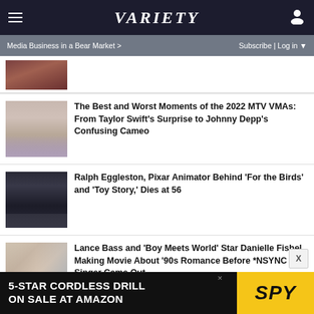Variety — Media Business in a Bear Market > | Subscribe | Log in
[Figure (photo): Partial thumbnail of a person at top of article list]
The Best and Worst Moments of the 2022 MTV VMAs: From Taylor Swift's Surprise to Johnny Depp's Confusing Cameo
Ralph Eggleston, Pixar Animator Behind 'For the Birds' and 'Toy Story,' Dies at 56
Lance Bass and 'Boy Meets World' Star Danielle Fishel Making Movie About '90s Romance Before *NSYNC Singer Came Out
[Figure (screenshot): Advertisement: 5-STAR CORDLESS DRILL ON SALE AT AMAZON — SPY]